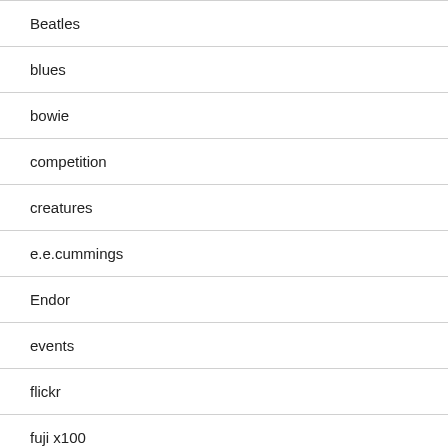Beatles
blues
bowie
competition
creatures
e.e.cummings
Endor
events
flickr
fuji x100
Furillen city